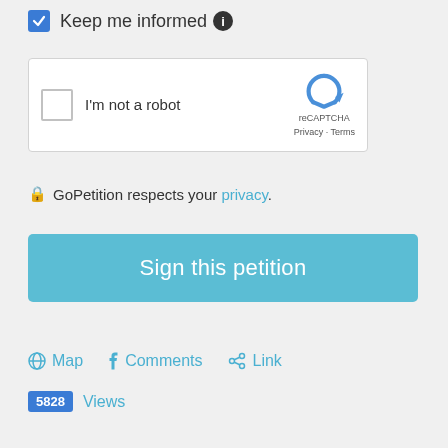Keep me informed ℹ
[Figure (screenshot): reCAPTCHA widget with checkbox labeled 'I'm not a robot' and reCAPTCHA logo with Privacy and Terms links]
🔒 GoPetition respects your privacy.
Sign this petition
🌐 Map  f Comments  🔗 Link
5828 Views